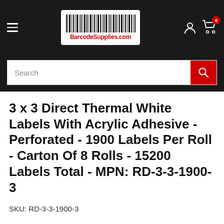BarcodeSupplies.com
3 x 3 Direct Thermal White Labels With Acrylic Adhesive - Perforated - 1900 Labels Per Roll - Carton Of 8 Rolls - 15200 Labels Total - MPN: RD-3-3-1900-3
SKU: RD-3-3-1900-3